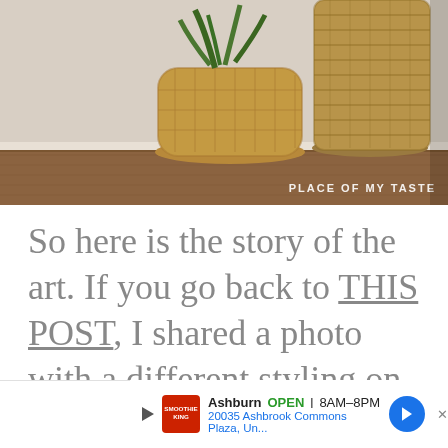[Figure (photo): Photo of two woven/rattan baskets on a wooden surface against a light wall. One is a shorter rounded basket with a plant, the other is a tall cylindrical rope-wrapped vase. Watermark text 'PLACE OF MY TASTE' appears at bottom right of the image.]
So here is the story of the art. If you go back to THIS POST, I shared a photo with a different styling on my mantel. I styled the mantel with different sized art
[Figure (infographic): Advertisement bar: Play button icon, Smoothie King logo, 'Ashburn OPEN 8AM-8PM 20035 Ashbrook Commons Plaza, Un...' with a blue navigation arrow button and close X.]